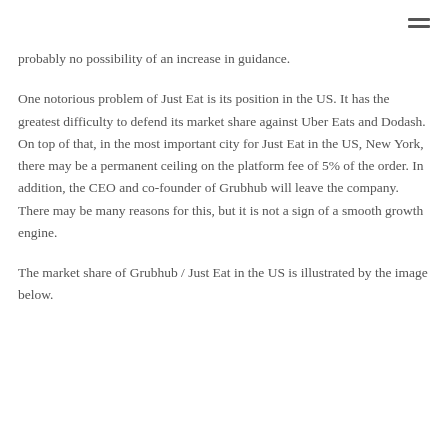probably no possibility of an increase in guidance.
One notorious problem of Just Eat is its position in the US. It has the greatest difficulty to defend its market share against Uber Eats and Dodash. On top of that, in the most important city for Just Eat in the US, New York, there may be a permanent ceiling on the platform fee of 5% of the order. In addition, the CEO and co-founder of Grubhub will leave the company. There may be many reasons for this, but it is not a sign of a smooth growth engine.
The market share of Grubhub / Just Eat in the US is illustrated by the image below.